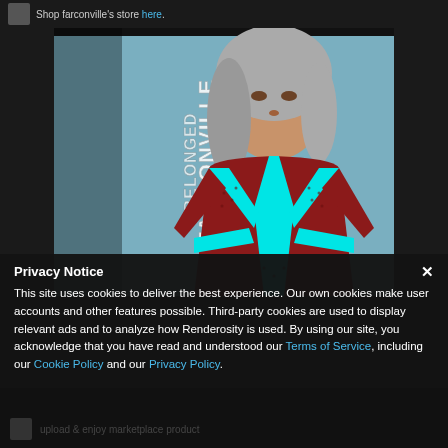Shop farconville's store here.
[Figure (illustration): 3D rendered female figure wearing a red textured bodysuit with cyan/turquoise geometric stripe accents. The figure has long gray hair and is posed against a light blue background. Vertical text on the left side reads 'BELONGVILLE FARCONVILLE' in a futuristic style.]
Privacy Notice
This site uses cookies to deliver the best experience. Our own cookies make user accounts and other features possible. Third-party cookies are used to display relevant ads and to analyze how Renderosity is used. By using our site, you acknowledge that you have read and understood our Terms of Service, including our Cookie Policy and our Privacy Policy.